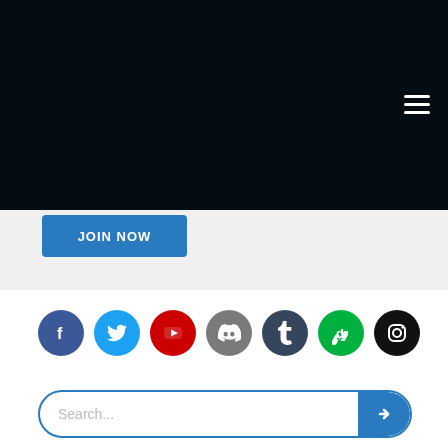[Figure (screenshot): Dark navy/black hero section background at top of webpage]
[Figure (other): Hamburger menu icon (three horizontal white lines) in top right corner]
JOIN NOW
[Figure (other): Row of social media icon circles: Facebook (blue), Twitter (light blue), YouTube (red), Discord (gray), Tumblr (dark navy), DeviantArt (green), Instagram (black)]
[Figure (other): Search bar with placeholder text 'Search...' and a blue arrow button on the right]